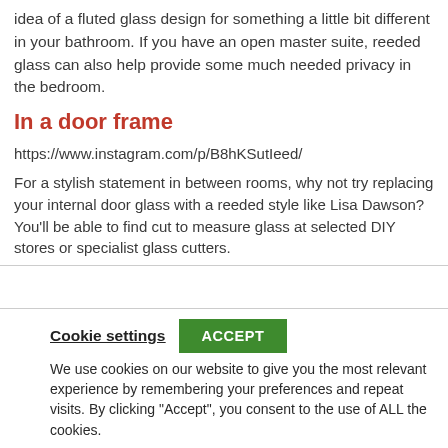idea of a fluted glass design for something a little bit different in your bathroom. If you have an open master suite, reeded glass can also help provide some much needed privacy in the bedroom.
In a door frame
https://www.instagram.com/p/B8hKSutIeed/
For a stylish statement in between rooms, why not try replacing your internal door glass with a reeded style like Lisa Dawson? You’ll be able to find cut to measure glass at selected DIY stores or specialist glass cutters.
Cookie settings   ACCEPT
We use cookies on our website to give you the most relevant experience by remembering your preferences and repeat visits. By clicking “Accept”, you consent to the use of ALL the cookies.